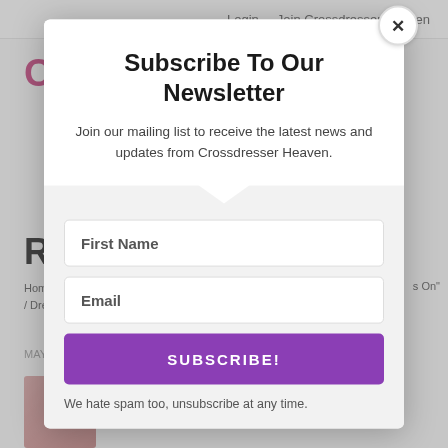Login   Join Crossdresser Heaven
Subscribe To Our Newsletter
Join our mailing list to receive the latest news and updates from Crossdresser Heaven.
First Name
Email
SUBSCRIBE!
We hate spam too, unsubscribe at any time.